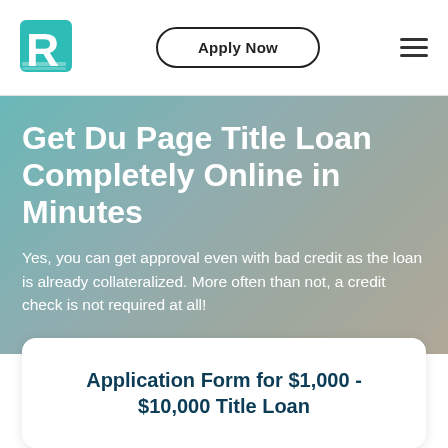[Figure (logo): Stylized letter R logo in teal/turquoise color]
Apply Now
[Figure (other): Hamburger menu icon with three horizontal lines]
Get Du Page Title Loan Completely Online in Minutes
Yes, you can get approval even with bad credit as the loan is already collateralized. More often than not, a credit check is not required at all!
Application Form for $1,000 - $10,000 Title Loan